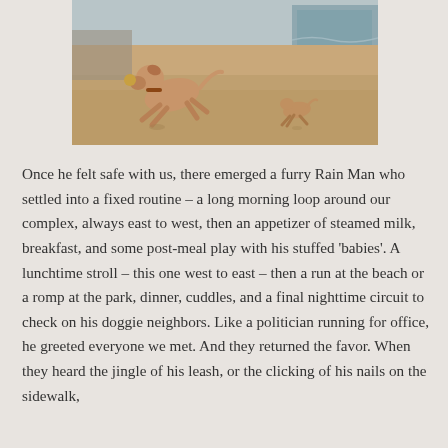[Figure (photo): Two dogs running and playing on a sandy beach. A larger tan/brown dog is running energetically in the foreground, and a smaller dog is visible in the background. Ocean waves visible in the upper right corner.]
Once he felt safe with us, there emerged a furry Rain Man who settled into a fixed routine – a long morning loop around our complex, always east to west, then an appetizer of steamed milk, breakfast, and some post-meal play with his stuffed 'babies'. A lunchtime stroll – this one west to east – then a run at the beach or a romp at the park, dinner, cuddles, and a final nighttime circuit to check on his doggie neighbors. Like a politician running for office, he greeted everyone we met. And they returned the favor. When they heard the jingle of his leash, or the clicking of his nails on the sidewalk,